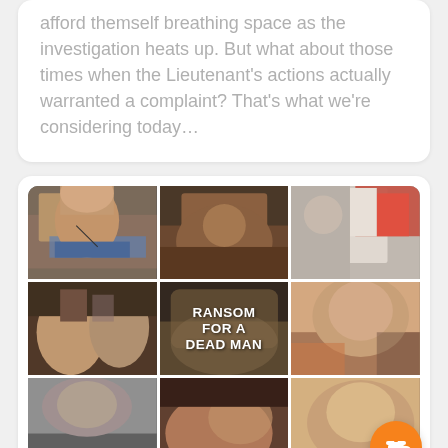afford themself breathing space as the investigation heats up. But what about those times when the Lieutenant's actions actually warranted a complaint? That's what we're considering today...
[Figure (photo): 3x3 grid of Columbo TV show screenshots. Middle row center cell shows title card 'RANSOM FOR A DEAD MAN'. Various scenes with actors, including Columbo and a woman with long hair.]
Columbo pilot 'Ransom for a...